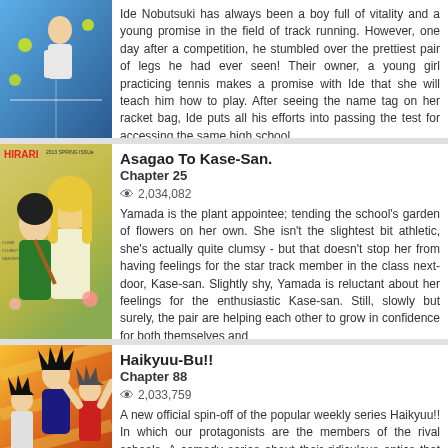[Figure (illustration): Manga cover art for a tennis-themed manga, partial view showing a character in tennis setting with blue background]
Ide Nobutsuki has always been a boy full of vitality and a young promise in the field of track running. However, one day after a competition, he stumbled over the prettiest pair of legs he had ever seen! Their owner, a young girl practicing tennis makes a promise with Ide that she will teach him how to play. After seeing the name tag on her racket bag, Ide puts all his efforts into passing the test for accessing the same high school
Asagao To Kase-San.
Chapter 25
2,034,082
[Figure (illustration): Manga cover art for Asagao To Kase-San showing two girls, one with long blonde hair and one with dark hair, on a yellow-green background with HIRARI magazine branding]
Yamada is the plant appointee; tending the school's garden of flowers on her own. She isn't the slightest bit athletic, she's actually quite clumsy - but that doesn't stop her from having feelings for the star track member in the class next-door, Kase-san. Slightly shy, Yamada is reluctant about her feelings for the enthusiastic Kase-san. Still, slowly but surely, the pair are helping each other to grow in confidence for both themselves and
Haikyuu-Bu!!
Chapter 88
2,033,759
[Figure (illustration): Manga cover art for Haikyuu-Bu!! showing characters with spiky hair on an orange/yellow striped background]
A new official spin-off of the popular weekly series Haikyuu!! In which our protagonists are the members of the rival schools. A comedy series about their ridiculous antics that you can't read in the original story! Read more